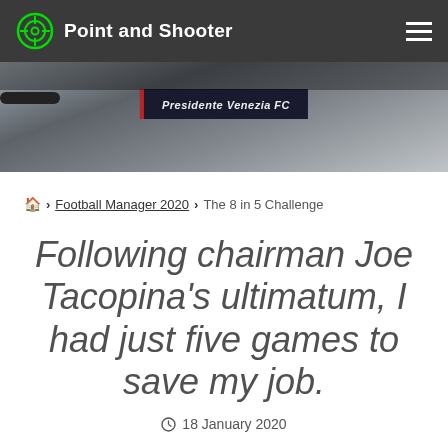Point and Shooter
[Figure (photo): A dark background photo showing a nameplate reading 'Presidente Venezia FC']
🏠 > Football Manager 2020 > The 8 in 5 Challenge
Following chairman Joe Tacopina's ultimatum, I had just five games to save my job.
18 January 2020